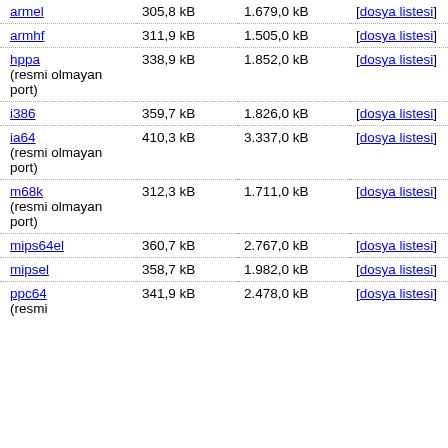| Architecture | Package Size | Installed Size | Files |
| --- | --- | --- | --- |
| armel | 305,8 kB | 1.679,0 kB | [dosya listesi] |
| armhf | 311,9 kB | 1.505,0 kB | [dosya listesi] |
| hppa (resmi olmayan port) | 338,9 kB | 1.852,0 kB | [dosya listesi] |
| i386 | 359,7 kB | 1.826,0 kB | [dosya listesi] |
| ia64 (resmi olmayan port) | 410,3 kB | 3.337,0 kB | [dosya listesi] |
| m68k (resmi olmayan port) | 312,3 kB | 1.711,0 kB | [dosya listesi] |
| mips64el | 360,7 kB | 2.767,0 kB | [dosya listesi] |
| mipsel | 358,7 kB | 1.982,0 kB | [dosya listesi] |
| ppc64 (resmi olmayan port) | 341,9 kB | 2.478,0 kB | [dosya listesi] |